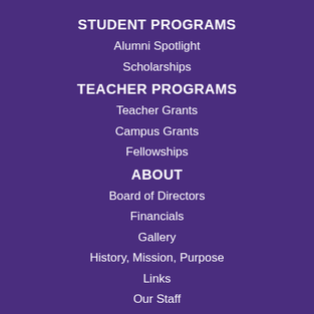STUDENT PROGRAMS
Alumni Spotlight
Scholarships
TEACHER PROGRAMS
Teacher Grants
Campus Grants
Fellowships
ABOUT
Board of Directors
Financials
Gallery
History, Mission, Purpose
Links
Our Staff
EVENTS
NEWS